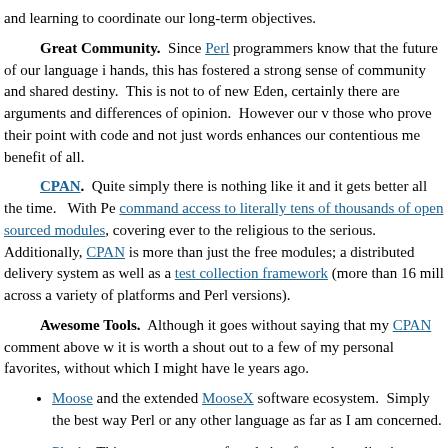and learning to coordinate our long-term objectives.
Great Community. Since Perl programmers know that the future of our language is in our hands, this has fostered a strong sense of community and shared destiny. This is not to say of new Eden, certainly there are arguments and differences of opinion. However our valuing those who prove their point with code and not just words enhances our contentious means to the benefit of all.
CPAN. Quite simply there is nothing like it and it gets better all the time. With Perl you get command access to literally tens of thousands of open sourced modules, covering everything from to the religious to the serious. Additionally, CPAN is more than just the free modules; it is a distributed delivery system as well as a test collection framework (more than 16 million tests across a variety of platforms and Perl versions).
Awesome Tools. Although it goes without saying that my CPAN comment above was hinting at it it is worth a shout out to a few of my personal favorites, without which I might have left Perl years ago.
Moose and the extended MooseX software ecosystem. Simply the best way to write OO in Perl or any other language as far as I am concerned.
Plack. This creates a strong foundation for web application building in Perl ...